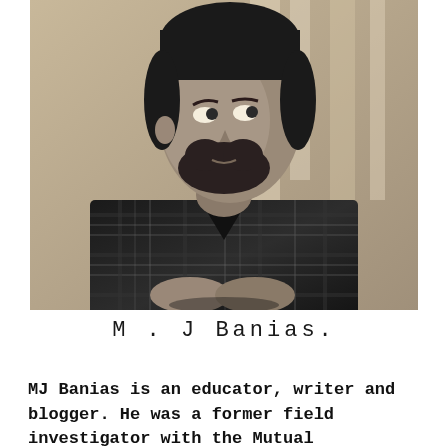[Figure (photo): Black and white portrait photo of a young man with beard wearing a plaid flannel shirt, sitting with hands clasped, looking to the side]
M . J  Banias.
MJ Banias is an educator, writer and blogger. He was a former field investigator with the Mutual